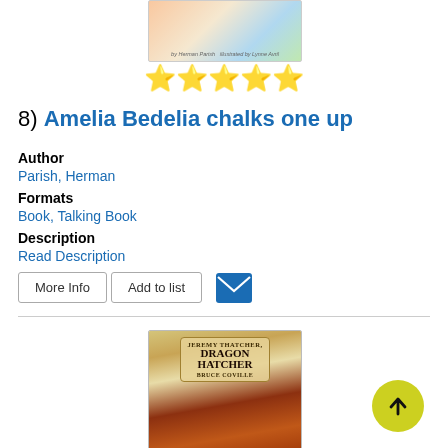[Figure (photo): Top portion of Amelia Bedelia book cover showing illustrated characters]
[Figure (other): Star rating: 4.5 out of 5 stars]
8) Amelia Bedelia chalks one up
Author
Parish, Herman
Formats
Book, Talking Book
Description
Read Description
[Figure (other): More Info button, Add to list button, and email icon]
[Figure (photo): Jeremy Thatcher Dragon Hatcher by Bruce Coville book cover]
[Figure (other): Yellow circle scroll-to-top button with upward arrow]